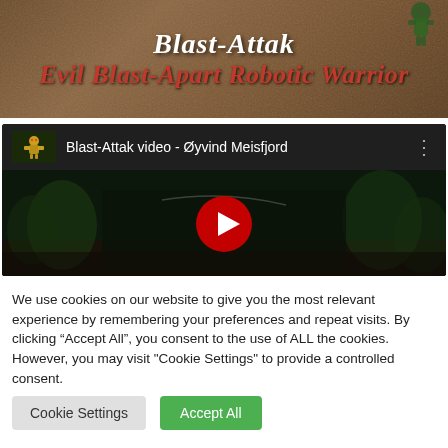[Figure (screenshot): Webpage header banner with dark earthy/brown textured background showing the title 'Blast-Attak' in white bold italic serif font and 'Evil Blast-Apart Robotic Warrior' in red bold italic serif font, with a green figurine partially visible in top right]
[Figure (screenshot): Embedded YouTube video player showing 'Blast-Attak video - Øyvind Meisfjord' with dark video frame of plants/garden scene, red YouTube play button in center, small robot thumbnail icon on left of video title bar]
We use cookies on our website to give you the most relevant experience by remembering your preferences and repeat visits. By clicking "Accept All", you consent to the use of ALL the cookies. However, you may visit "Cookie Settings" to provide a controlled consent.